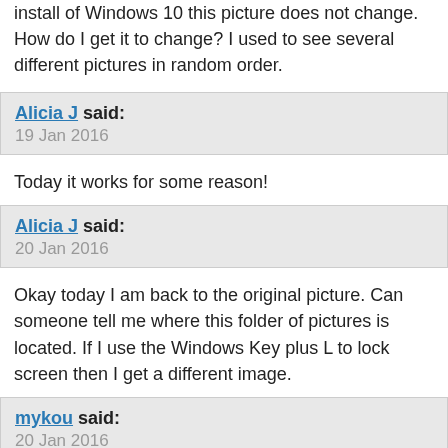install of Windows 10 this picture does not change. How do I get it to change? I used to see several different pictures in random order.
Alicia J said:
19 Jan 2016
Today it works for some reason!
Alicia J said:
20 Jan 2016
Okay today I am back to the original picture. Can someone tell me where this folder of pictures is located. If I use the Windows Key plus L to lock screen then I get a different image.
mykou said:
20 Jan 2016